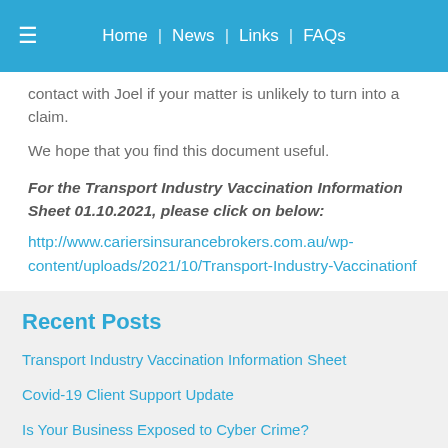Home | News | Links | FAQs
contact with Joel if your matter is unlikely to turn into a claim.
We hope that you find this document useful.
For the Transport Industry Vaccination Information Sheet 01.10.2021, please click on below:
http://www.cariersinsurancebrokers.com.au/wp-content/uploads/2021/10/Transport-Industry-Vaccinationf
Recent Posts
Transport Industry Vaccination Information Sheet
Covid-19 Client Support Update
Is Your Business Exposed to Cyber Crime?